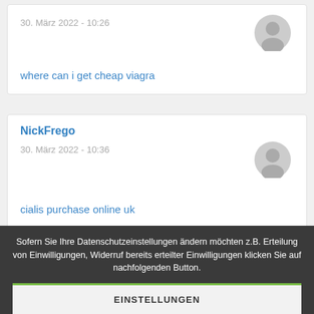30. März 2022 - 10:26
where can i get cheap viagra
NickFrego
30. März 2022 - 10:36
cialis purchase online uk
Sofern Sie Ihre Datenschutzeinstellungen ändern möchten z.B. Erteilung von Einwilligungen, Widerruf bereits erteilter Einwilligungen klicken Sie auf nachfolgenden Button.
EINSTELLUNGEN